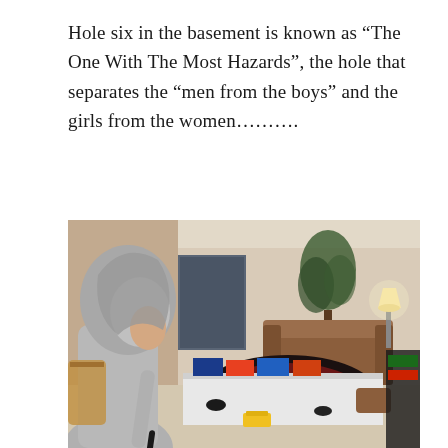Hole six in the basement is known as “The One With The Most Hazards”, the hole that separates the “men from the boys” and the girls from the women……….
[Figure (photo): Indoor photo of a basement living room set up as a mini golf course. A person in a grey hoodie stands in the foreground looking at the course, which has board games and obstacles laid out on the floor. In the background is a brown leather couch, a decorative rug, a potted plant, and a lamp on a side table.]